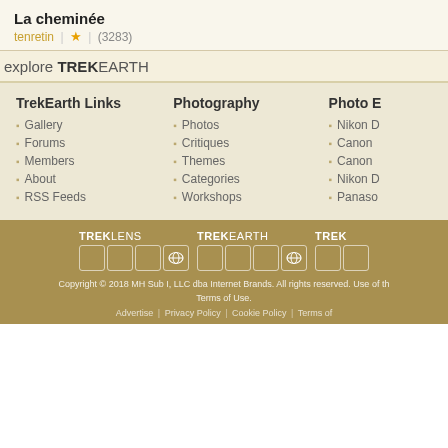La cheminée
tenretin | ★ | (3283)
explore TREKEARTH
TrekEarth Links
Gallery
Forums
Members
About
RSS Feeds
Photography
Photos
Critiques
Themes
Categories
Workshops
Photo E
Nikon D
Canon
Canon
Nikon D
Panaso
[Figure (logo): TREKLENS, TREKEARTH, TREK logos with grid of square boxes]
Copyright © 2018 MH Sub I, LLC dba Internet Brands. All rights reserved. Use of this site... Terms of Use. Advertise | Privacy Policy | Cookie Policy | Terms of...